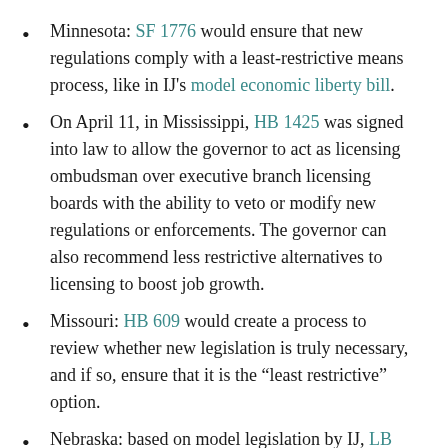Minnesota: SF 1776 would ensure that new regulations comply with a least-restrictive means process, like in IJ's model economic liberty bill.
On April 11, in Mississippi, HB 1425 was signed into law to allow the governor to act as licensing ombudsman over executive branch licensing boards with the ability to veto or modify new regulations or enforcements. The governor can also recommend less restrictive alternatives to licensing to boost job growth.
Missouri: HB 609 would create a process to review whether new legislation is truly necessary, and if so, ensure that it is the “least restrictive” option.
Nebraska: based on model legislation by IJ, LB ...